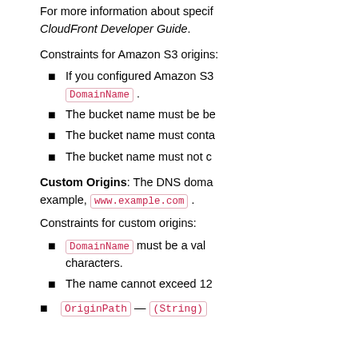For more information about specifying CloudFront Developer Guide.
Constraints for Amazon S3 origins:
If you configured Amazon S3 DomainName .
The bucket name must be be...
The bucket name must conta...
The bucket name must not co...
Custom Origins: The DNS doma... example, www.example.com .
Constraints for custom origins:
DomainName must be a val... characters.
The name cannot exceed 12...
OriginPath — (String)